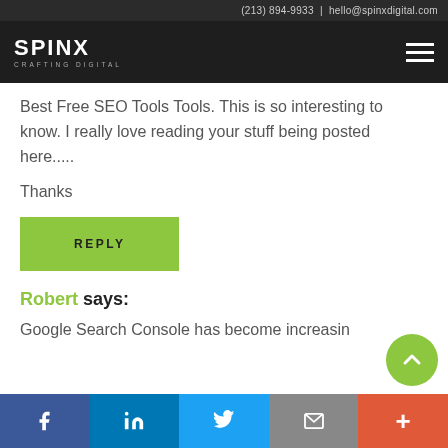(213) 894-9933 | hello@spinxdigital.com
[Figure (logo): SPINX Digital logo with tagline CRAFTING DIGITAL on dark background, with hamburger menu icon]
Best Free SEO Tools Tools. This is so interesting to know. I really love reading your stuff being posted here.....
Thanks
REPLY
Robert says:
Google Search Console has become increasin...